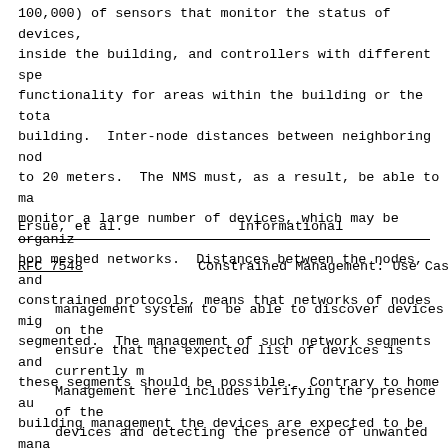100,000) of sensors that monitor the status of devices, inside the building, and controllers with different spe functionality for areas within the building or the tota building.  Inter-node distances between neighboring nod to 20 meters.  The NMS must, as a result, be able to ma monitor a large number of devices, which may be organiz hop meshed networks.  Distances between the nodes, and constrained protocols, means that networks of nodes mig segmented.  The management of such network segments and these segments should be possible.  Contrary to home au building management the devices are expected to be mana known to a set of commissioning tools and a data storag every connected device has a known origin.  This requir
Ersue, et al.                 Informational
RFC 7548              Constrained Management: Use Cases
management system to be able to discover devices on the ensure that the expected list of devices is currently m Management here includes verifying the presence of the devices and detecting the presence of unwanted devices.
Examples of functions performed by controllers in build are regulating the quality, humidity, and temperature o inside the building as well as regulating the lighting